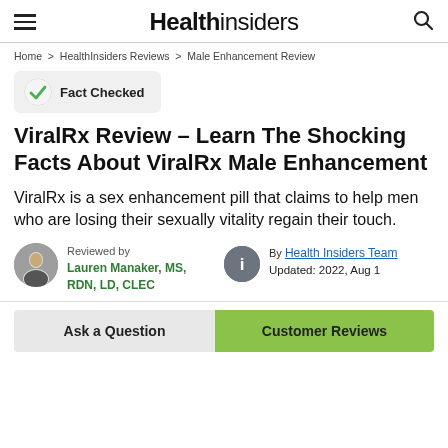Health insiders
Home > HealthInsiders Reviews > Male Enhancement Review
Fact Checked
ViralRx Review – Learn The Shocking Facts About ViralRx Male Enhancement
ViralRx is a sex enhancement pill that claims to help men who are losing their sexually vitality regain their touch.
Reviewed by Lauren Manaker, MS, RDN, LD, CLEC
By Health Insiders Team Updated: 2022, Aug 1
Ask a Question  Customer Reviews